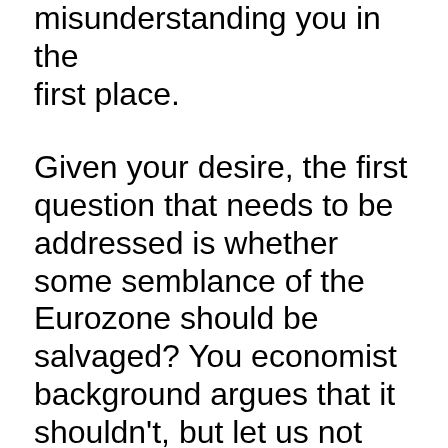misunderstanding you in the first place.
Given your desire, the first question that needs to be addressed is whether some semblance of the Eurozone should be salvaged? You economist background argues that it shouldn't, but let us not forget that the Euro project has the political purpose in uniting European nations. This is something that non-Europeans tend to not appreciate. European nations in general, and German in particular, are willing to put up with considerable cost to make the Euro project work